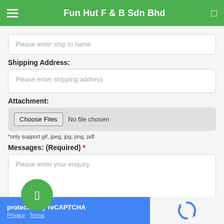Fun Hut F & B Sdn Bhd
Please enter ship to name
Shipping Address:
Please enter shipping address
Attachment:
Choose Files  No file chosen
*only support gif, jpeg, jpg, png, pdf
Messages: (Required) *
Please enter your enquiry
protected by reCAPTCHA  Privacy · Terms